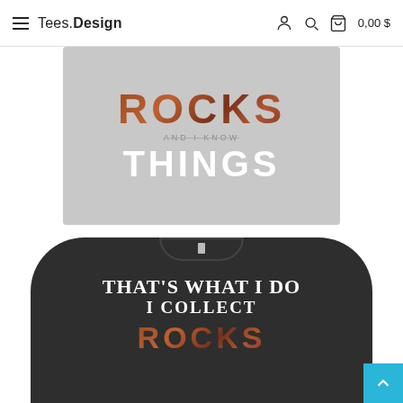Tees.Design  0,00 $
[Figure (photo): Gray t-shirt with text 'ROCKS AND I KNOW THINGS' printed on it, shown as a partial/cropped view]
[Figure (photo): Dark charcoal t-shirt with text 'THAT'S WHAT I DO I COLLECT' printed on it, shown from the front]